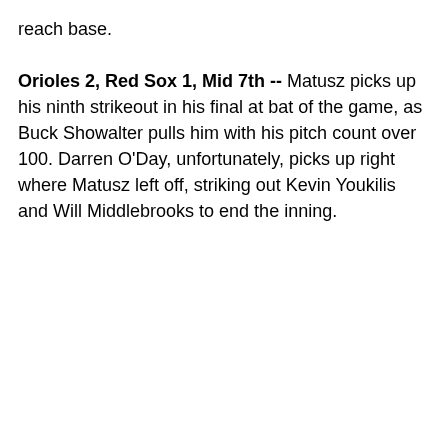reach base.
Orioles 2, Red Sox 1, Mid 7th -- Matusz picks up his ninth strikeout in his final at bat of the game, as Buck Showalter pulls him with his pitch count over 100. Darren O'Day, unfortunately, picks up right where Matusz left off, striking out Kevin Youkilis and Will Middlebrooks to end the inning.